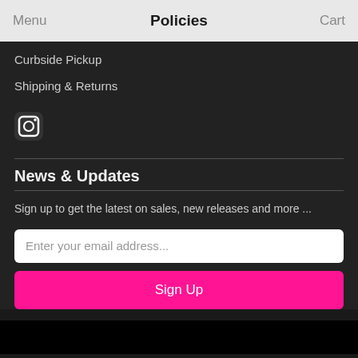Policies | Menu | Cart
Curbside Pickup
Shipping & Returns
[Figure (logo): Instagram icon in white on dark background]
News & Updates
Sign up to get the latest on sales, new releases and more ...
Enter your email address...
Sign Up